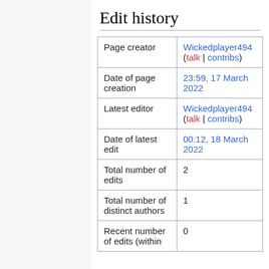Edit history
| Page creator | Wickedplayer494 (talk | contribs) |
| Date of page creation | 23:59, 17 March 2022 |
| Latest editor | Wickedplayer494 (talk | contribs) |
| Date of latest edit | 00:12, 18 March 2022 |
| Total number of edits | 2 |
| Total number of distinct authors | 1 |
| Recent number of edits (within | 0 |